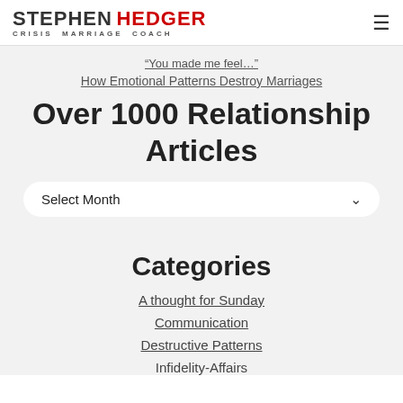STEPHEN HEDGER CRISIS MARRIAGE COACH
“You made me feel…”
How Emotional Patterns Destroy Marriages
Over 1000 Relationship Articles
Select Month
Categories
A thought for Sunday
Communication
Destructive Patterns
Infidelity-Affairs